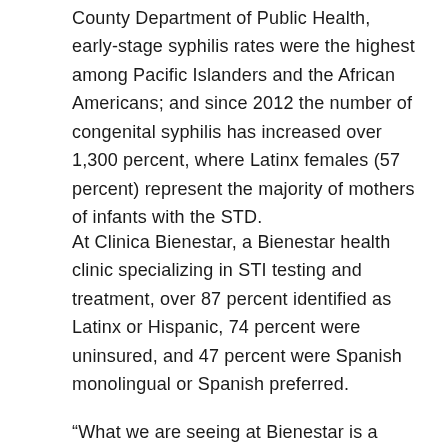County Department of Public Health, early-stage syphilis rates were the highest among Pacific Islanders and the African Americans; and since 2012 the number of congenital syphilis has increased over 1,300 percent, where Latinx females (57 percent) represent the majority of mothers of infants with the STD.
At Clinica Bienestar, a Bienestar health clinic specializing in STI testing and treatment, over 87 percent identified as Latinx or Hispanic, 74 percent were uninsured, and 47 percent were Spanish monolingual or Spanish preferred.
“What we are seeing at Bienestar is a need for